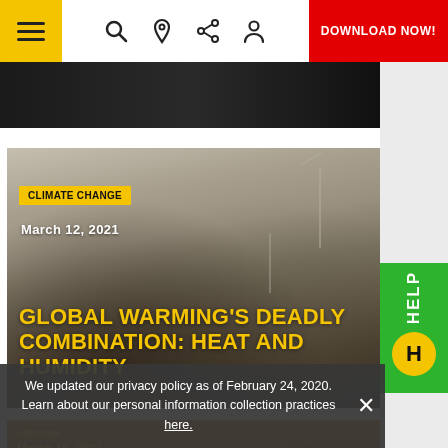DOWNLOAD NOW!
[Figure (photo): Dark top image strip, partially visible]
[Figure (photo): Article card with photo background showing a person against a hazy desert landscape with wind turbines. Overlay text: CLIMATE CHANGE badge, March 12, 2021, GLOBAL WARMING'S DEADLY COMBINATION: HEAT AND HUMIDITY]
CLIMATE CHANGE
March 12, 2021
GLOBAL WARMING'S DEADLY COMBINATION: HEAT AND HUMIDITY
[Figure (photo): Bottom article strip with warm orange/amber tones. Label: ARIZONA, date: March 10, 2021]
We updated our privacy policy as of February 24, 2020. Learn about our personal information collection practices here.